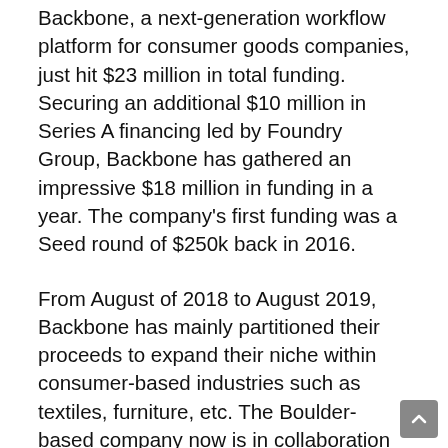Backbone, a next-generation workflow platform for consumer goods companies, just hit $23 million in total funding. Securing an additional $10 million in Series A financing led by Foundry Group, Backbone has gathered an impressive $18 million in funding in a year. The company's first funding was a Seed round of $250k back in 2016.
From August of 2018 to August 2019, Backbone has mainly partitioned their proceeds to expand their niche within consumer-based industries such as textiles, furniture, etc. The Boulder-based company now is in collaboration with several companies such as Warby Parker, Uppababy, Betabrand, Allbirds, and Outdoor Voices. Additionally, Backbone says that by the end of 2019 they'll be taking in a Chief Operating Officer and will be increasing their workforce 2x by the